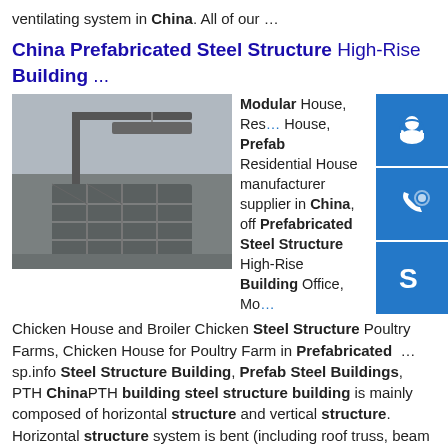ventilating system in China. All of our …
China Prefabricated Steel Structure High-Rise Building ...
[Figure (photo): Construction site showing a crane lifting a steel beam over a partially constructed high-rise steel frame building]
Modular House, Residential House, Prefab Residential House manufacturer supplier in China, off Prefabricated Steel Structure High-Rise Building Office, Modular Chicken House and Broiler Chicken Steel Structure Poultry Farms, Chicken House for Poultry Farm in Prefabricated …sp.info Steel Structure Building, Prefab Steel Buildings, PTH ChinaPTH building steel structure building is mainly composed of horizontal structure and vertical structure. Horizontal structure system is bent (including roof truss, beam and column) as the basic bearing structure, to bear the roof under load,